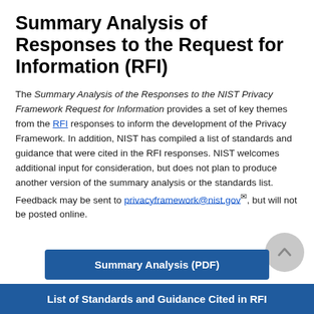Summary Analysis of Responses to the Request for Information (RFI)
The Summary Analysis of the Responses to the NIST Privacy Framework Request for Information provides a set of key themes from the RFI responses to inform the development of the Privacy Framework. In addition, NIST has compiled a list of standards and guidance that were cited in the RFI responses. NIST welcomes additional input for consideration, but does not plan to produce another version of the summary analysis or the standards list. Feedback may be sent to privacyframework@nist.gov, but will not be posted online.
Summary Analysis (PDF)
List of Standards and Guidance Cited in RFI